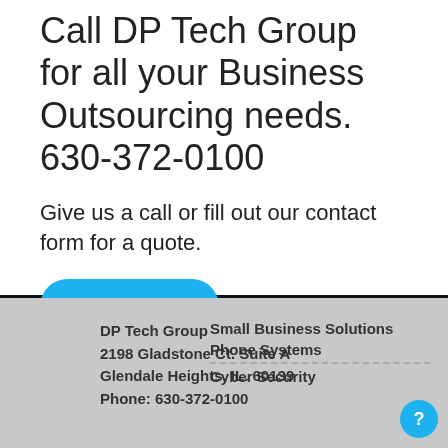Call DP Tech Group for all your Business Outsourcing needs. 630-372-0100
Give us a call or fill out our contact form for a quote.
Contact Us
DP Tech Group
2198 Gladstone Ct. Suite A
Glendale Heights, IL. 60139
Phone: 630-372-0100
Small Business Solutions
Phone Systems
Cyber Security